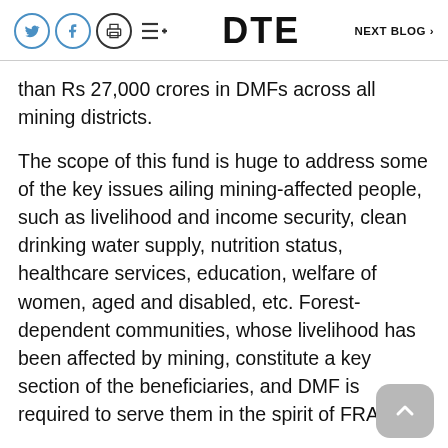DTE  NEXT BLOG >
than Rs 27,000 crores in DMFs across all mining districts.
The scope of this fund is huge to address some of the key issues ailing mining-affected people, such as livelihood and income security, clean drinking water supply, nutrition status, healthcare services, education, welfare of women, aged and disabled, etc. Forest-dependent communities, whose livelihood has been affected by mining, constitute a key section of the beneficiaries, and DMF is required to serve them in the spirit of FRA.